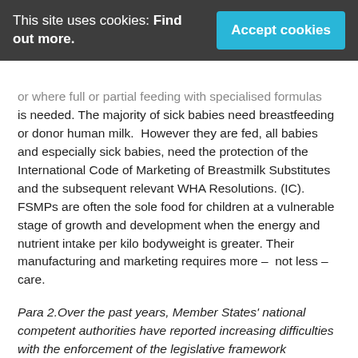This site uses cookies: Find out more. [Accept cookies]
or where full or partial feeding with specialised formulas is needed. The majority of sick babies need breastfeeding or donor human milk.  However they are fed, all babies and especially sick babies, need the protection of the International Code of Marketing of Breastmilk Substitutes and the subsequent relevant WHA Resolutions. (IC). FSMPs are often the sole food for children at a vulnerable stage of growth and development when the energy and nutrient intake per kilo bodyweight is greater. Their manufacturing and marketing requires more – not less – care.
Para 2.Over the past years, Member States' national competent authorities have reported increasing difficulties with the enforcement of the legislative framework applicable to FSMP. Member States' experts have in particular flagged that an increasing number of products are